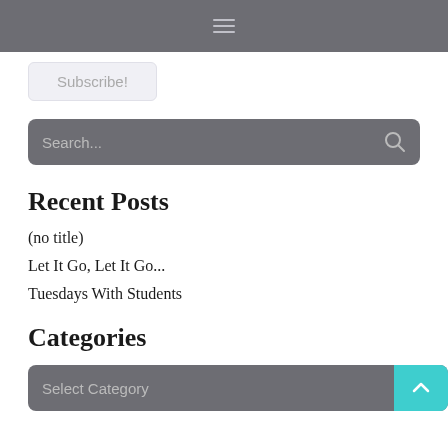≡
Subscribe!
Search...
Recent Posts
(no title)
Let It Go, Let It Go...
Tuesdays With Students
Categories
Select Category